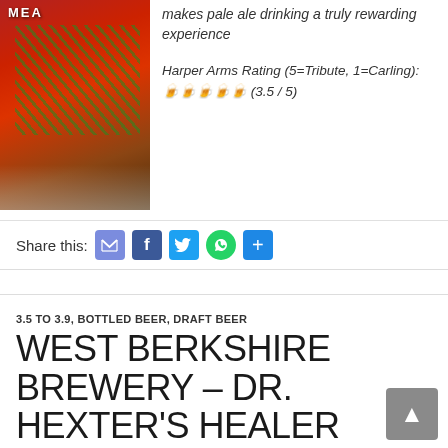[Figure (photo): Beer bottle with red label, partially visible, showing text 'MEA' at top, with green decorative elements on a dark red/brown bottle body with reflection at bottom]
makes pale ale drinking a truly rewarding experience
Harper Arms Rating (5=Tribute, 1=Carling): 🍺🍺🍺🍺🍺 (3.5 / 5)
Share this:
3.5 TO 3.9, BOTTLED BEER, DRAFT BEER
WEST BERKSHIRE BREWERY – DR. HEXTER'S HEALER
OCTOBER 5, 2016  DAVE  2 COMMENTS